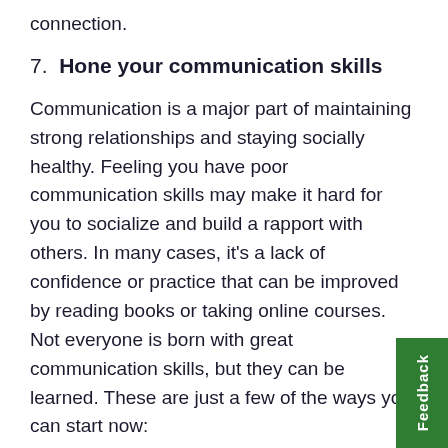connection.
7.  Hone your communication skills
Communication is a major part of maintaining strong relationships and staying socially healthy. Feeling you have poor communication skills may make it hard for you to socialize and build a rapport with others. In many cases, it’s a lack of confidence or practice that can be improved by reading books or taking online courses. Not everyone is born with great communication skills, but they can be learned. These are just a few of the ways you can start now: